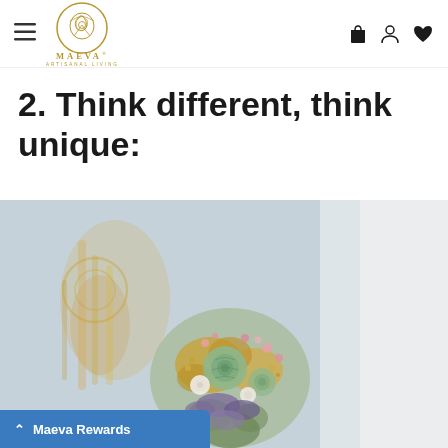MAEVA ARTISANAL LIVING — navigation header with hamburger menu, logo, shopping bag, user, and heart icons
2. Think different, think unique:
[Figure (photo): A bouquet of dried and fresh flowers including green roses, lavender, small pink berries, and golden dried blooms, set against a soft blue-grey background with gold decorative elements blurred in the background.]
Maeva Rewards